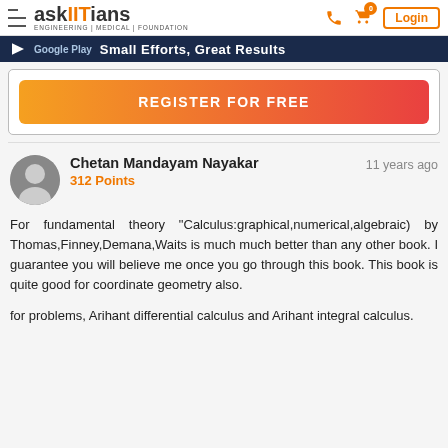askIITians ENGINEERING | MEDICAL | FOUNDATION — Login
[Figure (screenshot): Google Play banner strip with text 'Small Efforts, Great Results']
[Figure (screenshot): Register For Free orange gradient button inside white bordered box]
Chetan Mandayam Nayakar — 312 Points — 11 years ago
For fundamental theory "Calculus:graphical,numerical,algebraic) by Thomas,Finney,Demana,Waits is much much better than any other book. I guarantee you will believe me once you go through this book. This book is quite good for coordinate geometry also.
for problems, Arihant differential calculus and Arihant integral calculus.